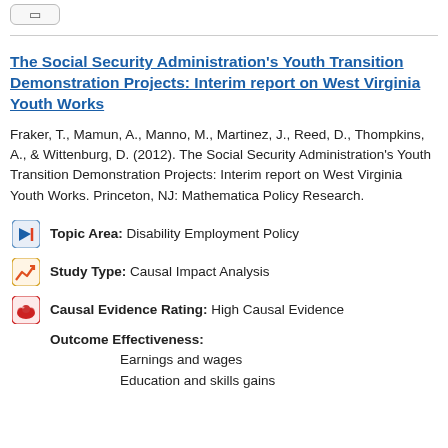The Social Security Administration's Youth Transition Demonstration Projects: Interim report on West Virginia Youth Works
Fraker, T., Mamun, A., Manno, M., Martinez, J., Reed, D., Thompkins, A., & Wittenburg, D. (2012). The Social Security Administration's Youth Transition Demonstration Projects: Interim report on West Virginia Youth Works. Princeton, NJ: Mathematica Policy Research.
Topic Area: Disability Employment Policy
Study Type: Causal Impact Analysis
Causal Evidence Rating: High Causal Evidence
Outcome Effectiveness:
Earnings and wages
Education and skills gains